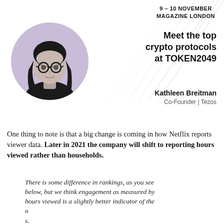9 – 10 NOVEMBER
MAGAZINE LONDON
[Figure (photo): Black and white circular photo of Kathleen Breitman, a woman with glasses and long hair, wearing a dark top]
Meet the top crypto protocols at TOKEN2049
Kathleen Breitman
Co-Founder | Tezos
One thing to note is that a big change is coming in how Netflix reports viewer data. Later in 2021 the company will shift to reporting hours viewed rather than households.
There is some difference in rankings, as you see below, but we think engagement as measured by hours viewed is a slightly better indicator of the o s. m